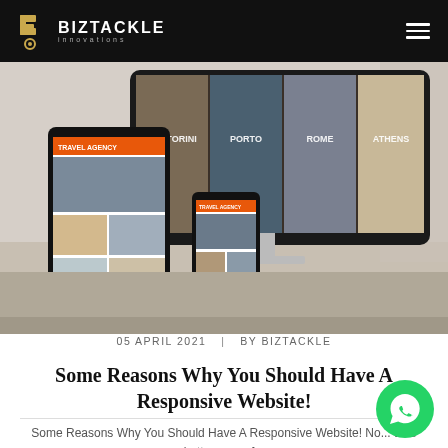BIZTACKLE innovations
[Figure (photo): Hero image showing a desktop monitor, tablet, and smartphone all displaying a travel agency website with destination photos (Santorini, Porto, Rome, Athens), placed on a desk with a keyboard.]
05 APRIL 2021  |  BY BIZTACKLE
Some Reasons Why You Should Have A Responsive Website!
Some Reasons Why You Should Have A Responsive Website! No... take better care of...